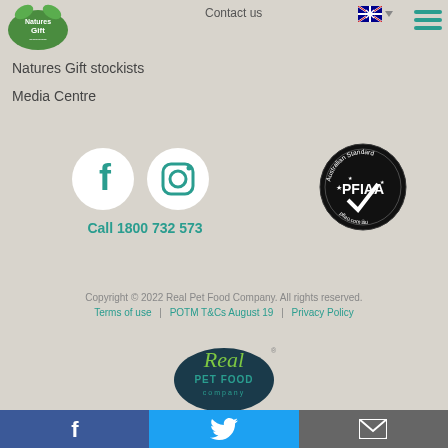[Figure (logo): Natures Gift brand logo - green oval with white text]
Contact us
[Figure (illustration): Australian flag with dropdown arrow]
[Figure (illustration): Hamburger menu icon (three green lines)]
Natures Gift stockists
Media Centre
[Figure (logo): Facebook icon - white F on white circle]
[Figure (logo): Instagram icon - camera outline on white circle]
Call 1800 732 573
[Figure (logo): PFIAA Australian Standard badge - circular seal with checkmark and stars]
Copyright © 2022 Real Pet Food Company. All rights reserved.
Terms of use  |  POTM T&Cs August 19  |  Privacy Policy
[Figure (logo): Real Pet Food Company logo - teal oval with green cursive Real and teal PET FOOD company text]
[Figure (illustration): Bottom bar with Facebook (blue), Twitter (light blue), and Email (grey) icons]